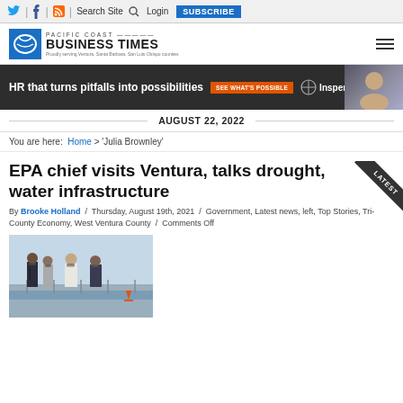Twitter | Facebook | RSS | Search Site | Login | SUBSCRIBE
[Figure (logo): Pacific Coast Business Times logo with blue icon and text]
[Figure (infographic): Advertisement banner: HR that turns pitfalls into possibilities - SEE WHAT'S POSSIBLE - Insperity, with photo of smiling man]
AUGUST 22, 2022
You are here: Home > 'Julia Brownley'
EPA chief visits Ventura, talks drought, water infrastructure
By Brooke Holland / Thursday, August 19th, 2021 / Government, Latest news, left, Top Stories, Tri-County Economy, West Ventura County / Comments Off
[Figure (photo): Group of people wearing masks walking outdoors near water infrastructure]